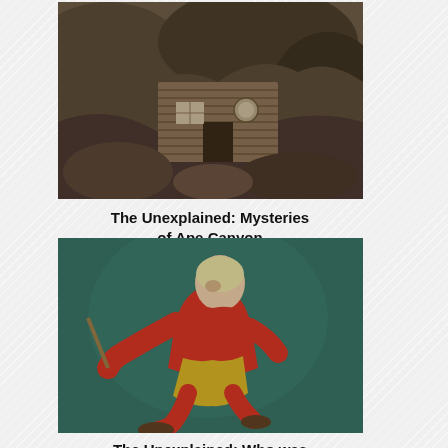[Figure (photo): Old black-and-white photograph of a log cabin or small wooden structure nestled among rocks, viewed from above]
The Unexplained: Mysteries of Ape Canyon
[Figure (photo): Colorful illustration or painting of a person in a red jumpsuit or costume in a dramatic action pose, holding a rope or weapon, against a teal/green background]
The Unexplained: Who was Glurpo the Clown?